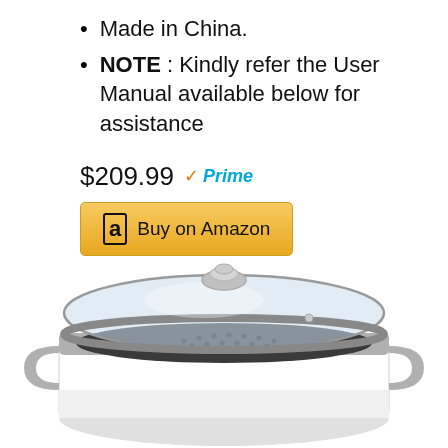Made in China.
NOTE : Kindly refer the User Manual available below for assistance
$209.99 ✓Prime
Buy on Amazon
[Figure (photo): White rice cooker with glass lid showing steamer tray inside, gray handles and trim]